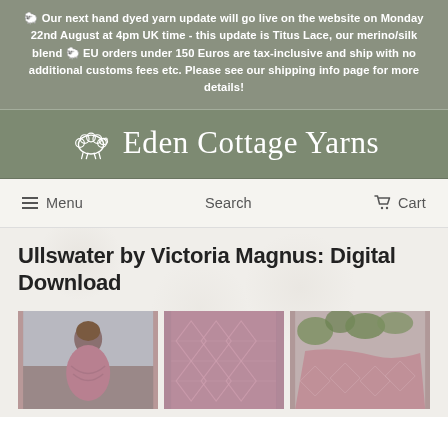🐑 Our next hand dyed yarn update will go live on the website on Monday 22nd August at 4pm UK time - this update is Titus Lace, our merino/silk blend 🐑 EU orders under 150 Euros are tax-inclusive and ship with no additional customs fees etc. Please see our shipping info page for more details!
[Figure (logo): Eden Cottage Yarns logo with hand-drawn sheep illustration and script text]
Menu  Search  Cart
Ullswater by Victoria Magnus: Digital Download
[Figure (photo): Three product photos showing a pink/mauve knitted lace shawl: a woman wearing the shawl, a close-up of the lace pattern detail, and the shawl draped on a surface]